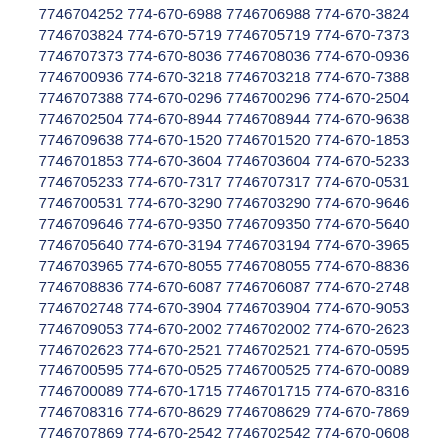7746704252 774-670-6988 7746706988 774-670-3824 7746703824 774-670-5719 7746705719 774-670-7373 7746707373 774-670-8036 7746708036 774-670-0936 7746700936 774-670-3218 7746703218 774-670-7388 7746707388 774-670-0296 7746700296 774-670-2504 7746702504 774-670-8944 7746708944 774-670-9638 7746709638 774-670-1520 7746701520 774-670-1853 7746701853 774-670-3604 7746703604 774-670-5233 7746705233 774-670-7317 7746707317 774-670-0531 7746700531 774-670-3290 7746703290 774-670-9646 7746709646 774-670-9350 7746709350 774-670-5640 7746705640 774-670-3194 7746703194 774-670-3965 7746703965 774-670-8055 7746708055 774-670-8836 7746708836 774-670-6087 7746706087 774-670-2748 7746702748 774-670-3904 7746703904 774-670-9053 7746709053 774-670-2002 7746702002 774-670-2623 7746702623 774-670-2521 7746702521 774-670-0595 7746700595 774-670-0525 7746700525 774-670-0089 7746700089 774-670-1715 7746701715 774-670-8316 7746708316 774-670-8629 7746708629 774-670-7869 7746707869 774-670-2542 7746702542 774-670-0608 7746700608 774-670-8304 7746708304 774-670-7547 7746707547 774-670-2088 7746702088 774-670-2174 7746702174 774-670-0804 7746700804 774-670-5964 7746705964 774-670-6241 7746706241 774-670-8802 7746708802 774-670-3040 7746703040 774-670-7313